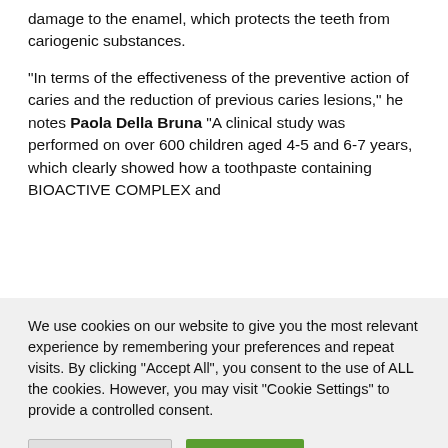damage to the enamel, which protects the teeth from cariogenic substances.
“In terms of the effectiveness of the preventive action of caries and the reduction of previous caries lesions,” he notes Paola Della Bruna “A clinical study was performed on over 600 children aged 4-5 and 6-7 years, which clearly showed how a toothpaste containing BIOACTIVE COMPLEX and
We use cookies on our website to give you the most relevant experience by remembering your preferences and repeat visits. By clicking “Accept All”, you consent to the use of ALL the cookies. However, you may visit “Cookie Settings” to provide a controlled consent.